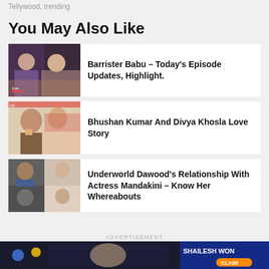Tellywood, trending
You May Also Like
Barrister Babu – Today's Episode Updates, Highlight.
Bhushan Kumar And Divya Khosla Love Story
Underworld Dawood's Relationship With Actress Mandakini – Know Her Whereabouts
ADVERTISEMENT